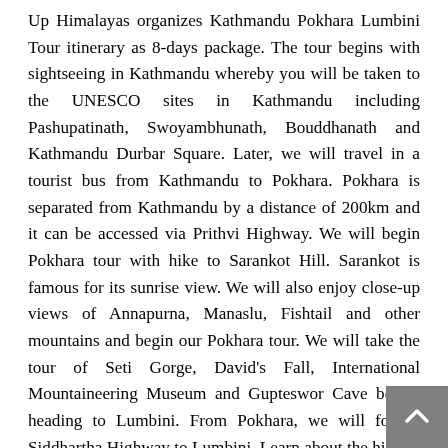Up Himalayas organizes Kathmandu Pokhara Lumbini Tour itinerary as 8-days package. The tour begins with sightseeing in Kathmandu whereby you will be taken to the UNESCO sites in Kathmandu including Pashupatinath, Swoyambhunath, Bouddhanath and Kathmandu Durbar Square. Later, we will travel in a tourist bus from Kathmandu to Pokhara. Pokhara is separated from Kathmandu by a distance of 200km and it can be accessed via Prithvi Highway. We will begin Pokhara tour with hike to Sarankot Hill. Sarankot is famous for its sunrise view. We will also enjoy close-up views of Annapurna, Manaslu, Fishtail and other mountains and begin our Pokhara tour. We will take the tour of Seti Gorge, David's Fall, International Mountaineering Museum and Gupteswor Cave before heading to Lumbini. From Pokhara, we will follow Siddhartha Highway to Lumbini. Learn about the history and archeology of